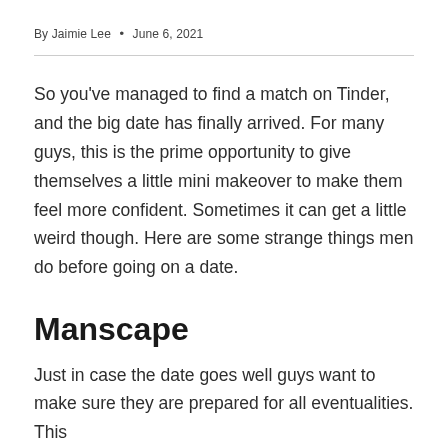By Jaimie Lee • June 6, 2021
So you've managed to find a match on Tinder, and the big date has finally arrived. For many guys, this is the prime opportunity to give themselves a little mini makeover to make them feel more confident. Sometimes it can get a little weird though. Here are some strange things men do before going on a date.
Manscape
Just in case the date goes well guys want to make sure they are prepared for all eventualities. This